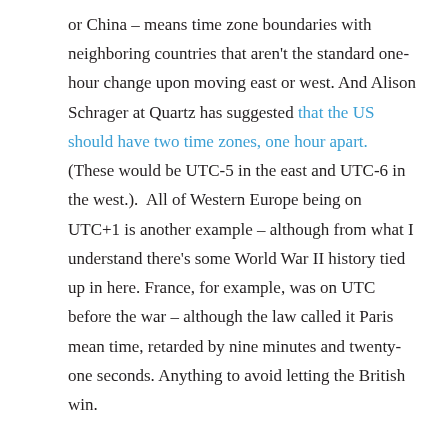or China – means time zone boundaries with neighboring countries that aren't the standard one-hour change upon moving east or west. And Alison Schrager at Quartz has suggested that the US should have two time zones, one hour apart. (These would be UTC-5 in the east and UTC-6 in the west.). All of Western Europe being on UTC+1 is another example – although from what I understand there's some World War II history tied up in here. France, for example, was on UTC before the war – although the law called it Paris mean time, retarded by nine minutes and twenty-one seconds. Anything to avoid letting the British win.